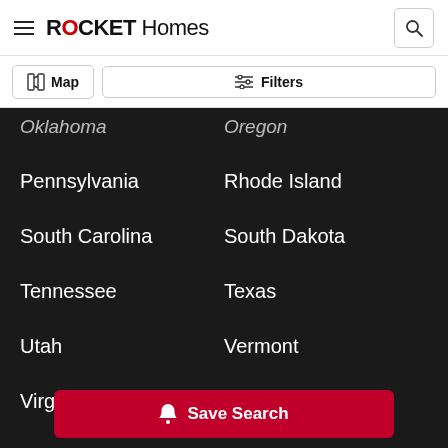ROCKET Homes
Map
Filters
Oklahoma
Oregon
Pennsylvania
Rhode Island
South Carolina
South Dakota
Tennessee
Texas
Utah
Vermont
Virginia
Washington
W...
Save Search